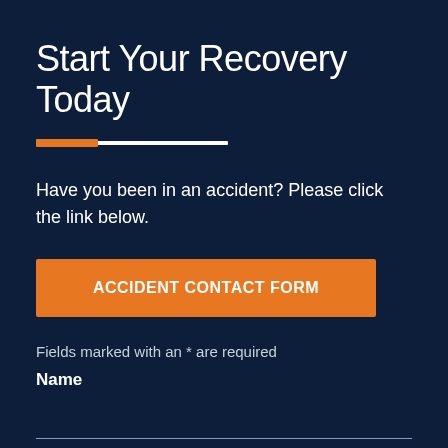Start Your Recovery Today
Have you been in an accident? Please click the link below.
ACCIDENT CONTACT FORM
Fields marked with an * are required
Name
Phone